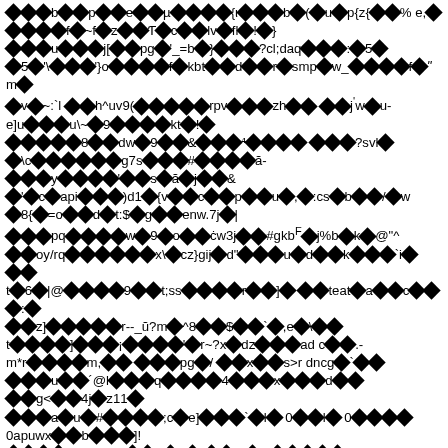Garbled/encoded text content with diamond replacement characters throughout the page — appears to be corrupted or encoded document text with mixed ASCII symbols and replacement characters.